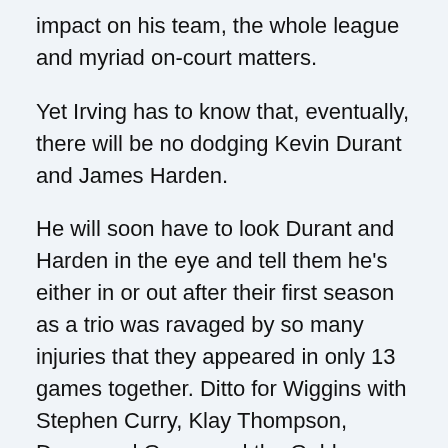impact on his team, the whole league and myriad on-court matters.
Yet Irving has to know that, eventually, there will be no dodging Kevin Durant and James Harden.
He will soon have to look Durant and Harden in the eye and tell them he's either in or out after their first season as a trio was ravaged by so many injuries that they appeared in only 13 games together. Ditto for Wiggins with Stephen Curry, Klay Thompson, Draymond Green and the Golden State officials who liberated Wiggins from five-plus seasons of lottery purgatory in Minnesota.
In the interim, we refer you to a more eloquent Substacker: Kareem Abdul-Jabbar on Monday published a sternly written challenge to NBA players